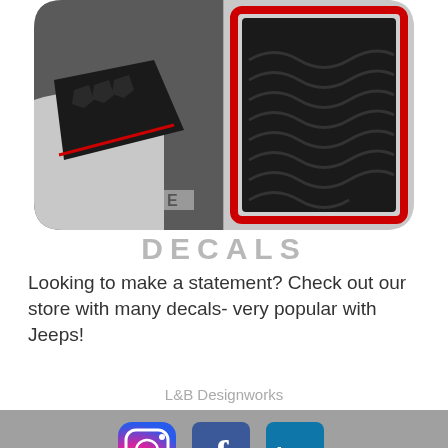[Figure (photo): Two product photos of vehicle decals/floor mats inside a rounded-corner container: left shows a car fender with a black carbon fiber style decal with red trim; right shows a black wavy-patterned floor mat with red border.]
DECALS
Looking to make a statement? Check out our store with many decals- very popular with Jeeps!
L&B Designworks
[Figure (infographic): Footer area with grey background containing: Instagram icon (gradient rainbow ring), Facebook icon (blue with white f), LinkedIn icon (teal/blue with white 'in'), Southwest Michigan Regional Chamber logo with green wave icon, a back-to-top button (grey square with white chevron up), a Contact Us pill button, and a blue circle more-options button with three white dots.]